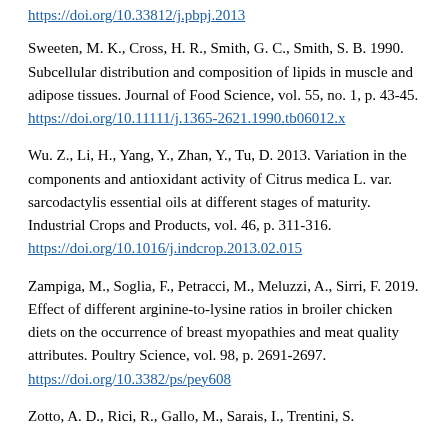https://doi.org/[partial URL cut off at top]
Sweeten, M. K., Cross, H. R., Smith, G. C., Smith, S. B. 1990. Subcellular distribution and composition of lipids in muscle and adipose tissues. Journal of Food Science, vol. 55, no. 1, p. 43-45. https://doi.org/10.11111/j.1365-2621.1990.tb06012.x
Wu. Z., Li, H., Yang, Y., Zhan, Y., Tu, D. 2013. Variation in the components and antioxidant activity of Citrus medica L. var. sarcodactylis essential oils at different stages of maturity. Industrial Crops and Products, vol. 46, p. 311-316. https://doi.org/10.1016/j.indcrop.2013.02.015
Zampiga, M., Soglia, F., Petracci, M., Meluzzi, A., Sirri, F. 2019. Effect of different arginine-to-lysine ratios in broiler chicken diets on the occurrence of breast myopathies and meat quality attributes. Poultry Science, vol. 98, p. 2691-2697. https://doi.org/10.3382/ps/pey608
Zotto, A. D., Rici, R., Gallo, M., Sarais, I., Trentini, S... [partial, cut off at bottom]